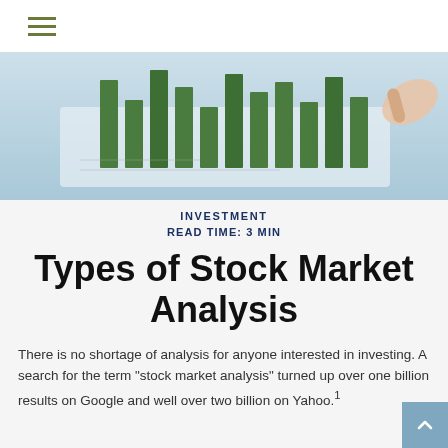[Figure (photo): Close-up photo of a hand pointing at a bar chart with green bars on a tablet or printed chart, light blue background]
INVESTMENT
READ TIME: 3 MIN
Types of Stock Market Analysis
There is no shortage of analysis for anyone interested in investing. A search for the term "stock market analysis" turned up over one billion results on Google and well over two billion on Yahoo.1